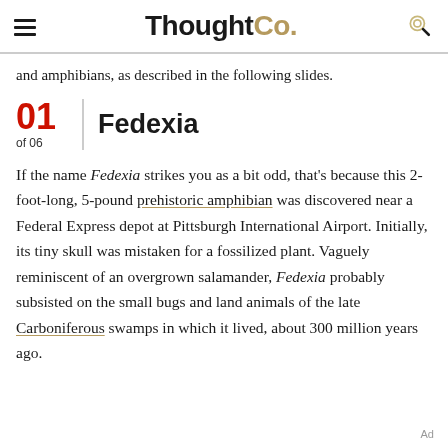ThoughtCo.
and amphibians, as described in the following slides.
01 of 06 — Fedexia
If the name Fedexia strikes you as a bit odd, that's because this 2-foot-long, 5-pound prehistoric amphibian was discovered near a Federal Express depot at Pittsburgh International Airport. Initially, its tiny skull was mistaken for a fossilized plant. Vaguely reminiscent of an overgrown salamander, Fedexia probably subsisted on the small bugs and land animals of the late Carboniferous swamps in which it lived, about 300 million years ago.